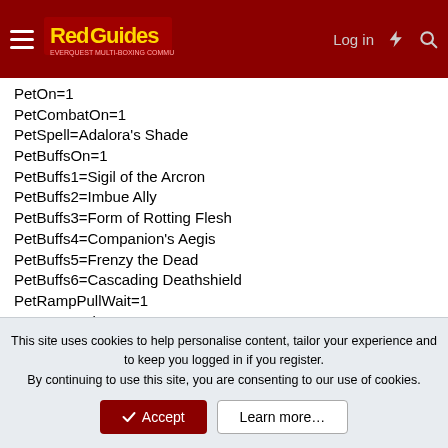RedGuides — Log in
PetOn=1
PetCombatOn=1
PetSpell=Adalora's Shade
PetBuffsOn=1
PetBuffs1=Sigil of the Arcron
PetBuffs2=Imbue Ally
PetBuffs3=Form of Rotting Flesh
PetBuffs4=Companion's Aegis
PetBuffs5=Frenzy the Dead
PetBuffs6=Cascading Deathshield
PetRampPullWait=1
PetSuspend=0
PetToysGave=
PetFocus=NULL
PetShrinkOn=0
This site uses cookies to help personalise content, tailor your experience and to keep you logged in if you register. By continuing to use this site, you are consenting to our use of cookies.